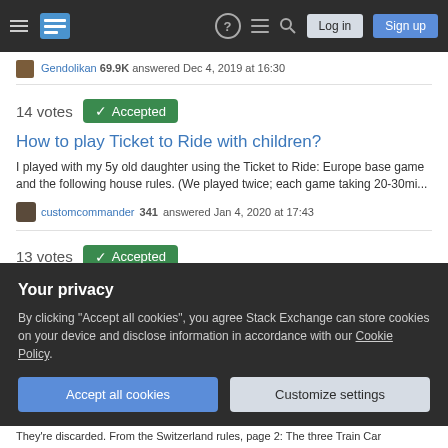Stack Exchange Q&A site navigation bar with Log in and Sign up buttons
Gendolikan 69.9K answered Dec 4, 2019 at 16:30
14 votes  Accepted
How to play Ticket to Ride with children?
I played with my 5y old daughter using the Ticket to Ride: Europe base game and the following house rules. (We played twice; each game taking 20-30mi...
customcommander 341 answered Jan 4, 2020 at 17:43
13 votes  Accepted
How can I handicap Ticket To Ride: USA, without seeming patronizing?
Some actions you can take, in increasing order of difficulty it will impose: Don't...
Your privacy
By clicking "Accept all cookies", you agree Stack Exchange can store cookies on your device and disclose information in accordance with our Cookie Policy.
Accept all cookies   Customize settings
They're discarded. From the Switzerland rules, page 2: The three Train Car